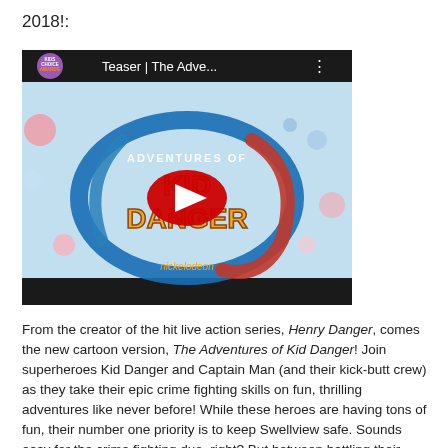2018!:
[Figure (screenshot): YouTube video thumbnail for 'Teaser | The Adve...' showing The Adventures of Kid Danger title card with Nickelodeon Kids Choice Awards badge. Large red YouTube play button in center. Dark background bar at top and bottom.]
From the creator of the hit live action series, Henry Danger, comes the new cartoon version, The Adventures of Kid Danger! Join superheroes Kid Danger and Captain Man (and their kick-butt crew) as they take their epic crime fighting skills on fun, thrilling adventures like never before! While these heroes are having tons of fun, their number one priority is to keep Swellview safe. Sounds easy for the crime fighting duo, right? But between battling their classic criminal